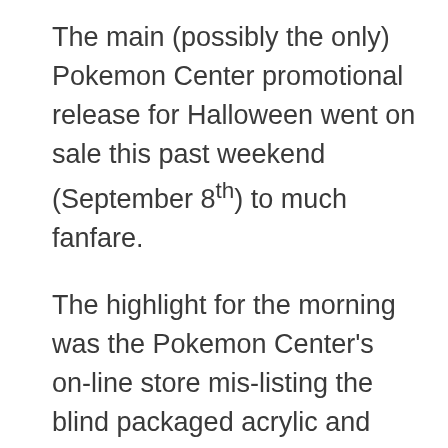The main (possibly the only) Pokemon Center promotional release for Halloween went on sale this past weekend (September 8th) to much fanfare.
The highlight for the morning was the Pokemon Center's on-line store mis-listing the blind packaged acrylic and metal charms. Whoever is suddenly in charge of listing items on the on-line store doesn't seem to know what they're doing as I've noticed at least one major item with multiple mistakes (price, pre-